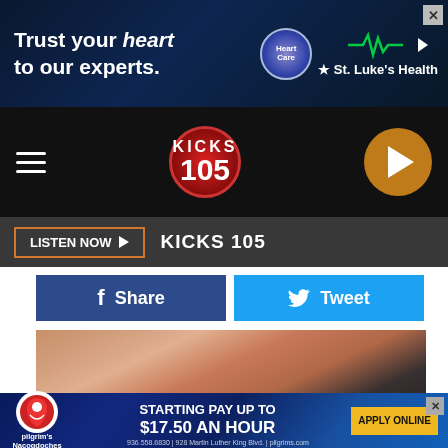[Figure (other): St. Luke's Health advertisement banner with text 'Trust your heart to our experts.' and logo]
[Figure (other): KICKS 105 radio station header with hamburger menu, logo, and orange play button]
[Figure (other): LISTEN NOW button and KICKS 105 label on dark bar]
[Figure (other): Facebook Share and Twitter Tweet social media buttons]
[Figure (photo): Person touching knee/shoulder area, skin-tone photo]
Online Project Management Courses Might Be More Fun than You Think
Online Project Management Courses | Search ads
[Figure (photo): Bananas on wooden surface]
[Figure (other): Pilgrim's employment advertisement: STARTING PAY UP TO $17.50 AN HOUR, APPLY ONLINE, 936.558.6830 | 928 Martin Luther King Blvd. | pilgrims.com]